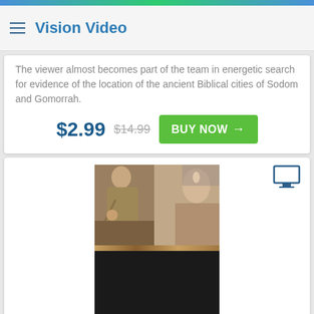Vision Video
The viewer almost becomes part of the team in energetic search for evidence of the location of the ancient Biblical cities of Sodom and Gomorrah.
$2.99  $14.99  BUY NOW →
[Figure (photo): Book cover for 'Biblical Theater - How to Create Authentic Costumes, New Testament Edition' showing two people in biblical costume on the upper half and gold text on black background on the lower half]
Biblical Theater - .MP4 Digital Download ☆